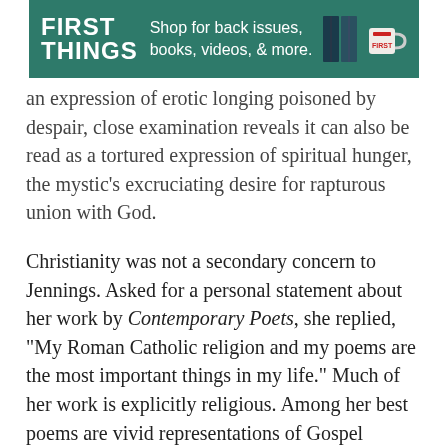[Figure (other): First Things advertisement banner with green background, logo on left, text 'Shop for back issues, books, videos, & more.' in center, book and mug images on right]
an expression of erotic longing poisoned by despair, close examination reveals it can also be read as a tortured expression of spiritual hunger, the mystic's excruciating desire for rapturous union with God.
Christianity was not a secondary concern to Jennings. Asked for a personal statement about her work by Contemporary Poets, she replied, "My Roman Catholic religion and my poems are the most important things in my life." Much of her work is explicitly religious. Among her best poems are vivid representations of Gospel episodes—"The Annunciation," "The Visitation," and "Lazarus." These devotional poems are neither pious nor abstract. Jennings places herself directly in each scene as an observer—in a manner